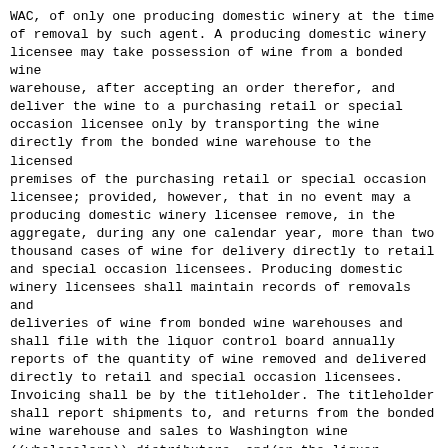WAC, of only one producing domestic winery at the time of removal by such agent. A producing domestic winery licensee may take possession of wine from a bonded wine warehouse, after accepting an order therefor, and deliver the wine to a purchasing retail or special occasion licensee only by transporting the wine directly from the bonded wine warehouse to the licensed premises of the purchasing retail or special occasion licensee; provided, however, that in no event may a producing domestic winery licensee remove, in the aggregate, during any one calendar year, more than two thousand cases of wine for delivery directly to retail and special occasion licensees. Producing domestic winery licensees shall maintain records of removals and deliveries of wine from bonded wine warehouses and shall file with the liquor control board annually reports of the quantity of wine removed and delivered directly to retail and special occasion licensees. Invoicing shall be by the titleholder. The titleholder shall report shipments to, and returns from the bonded wine warehouse and sales to Washington wine ((wholesalers)) distributors, and/or the liquor control board on the twentieth day of the month following the month of shipment and/or sale on forms furnished by, or acceptable to, the board.
(6) At no time shall title to wine stored at the bonded wine warehouse pass to the operator of the bonded wine warehouse.